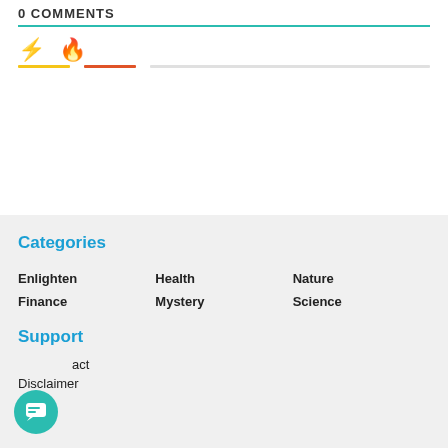0 COMMENTS
[Figure (illustration): Two icons: a yellow lightning bolt and an orange fire/flame, with colored underlines beneath each]
Categories
Enlighten
Health
Nature
Finance
Mystery
Science
Support
Contact
Disclaimer
[Figure (illustration): Teal circular chat/message bubble icon button]